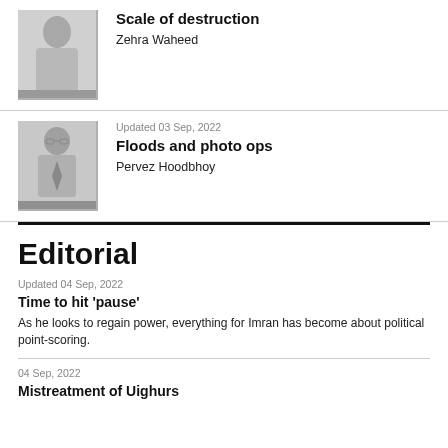Scale of destruction
Zehra Waheed
Updated 03 Sep, 2022
Floods and photo ops
Pervez Hoodbhoy
Editorial
Updated 04 Sep, 2022
Time to hit ‘pause’
As he looks to regain power, everything for Imran has become about political point-scoring.
04 Sep, 2022
Mistreatment of Uighurs